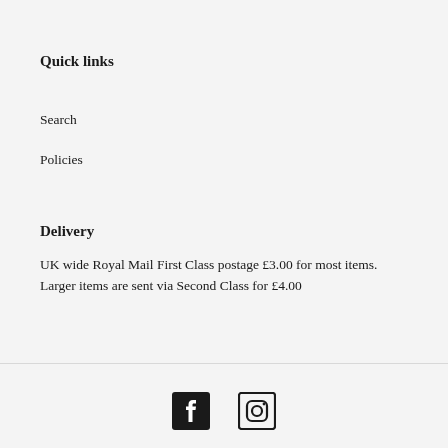Quick links
Search
Policies
Delivery
UK wide Royal Mail First Class postage £3.00 for most items. Larger items are sent via Second Class for £4.00
[Figure (logo): Facebook and Instagram social media icons in the footer]